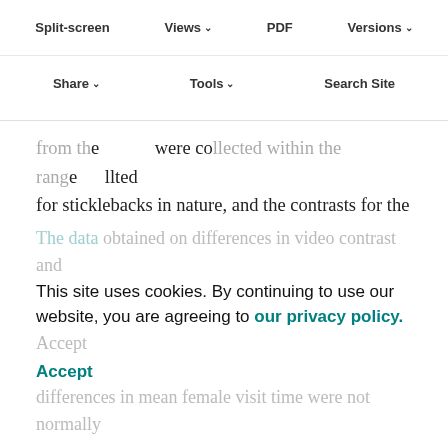Split-screen | Views | PDF | Versions | Share | Tools | Search Site
from the were collected within the range collected for sticklebacks in nature, and the contrasts for the two nuptial features (i.e. eye to throat/jaw and throat/jaw to flank) spanned similar ranges (<3% difference overall from all cone interactions). These comparisons suggest that the characteristics of nuptial features in the videos would not have led to an inherent bias toward a particular feature by the female. Female interest in a given combination of parameters (e.g. iris–throat/jaw) was determined by the average length of time that a female faced toward a video per visit. We then computed the difference in mean female visit time between videos per experiment as a measure of female preference.
This site uses cookies. By continuing to use our website, you are agreeing to our privacy policy. Accept
The data obtained on differences in video contrast and differences in mean female visit time were not normally